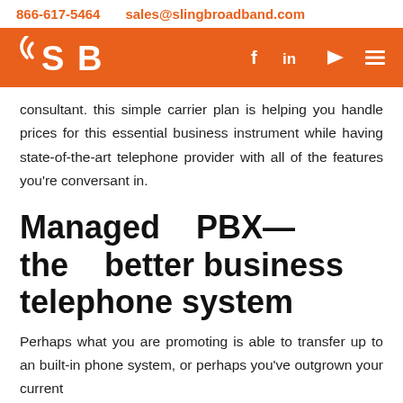866-617-5464   sales@slingbroadband.com
[Figure (logo): Sling Broadband (SB) logo in white on orange background with navigation icons (Facebook, LinkedIn, YouTube, menu)]
consultant. this simple carrier plan is helping you handle prices for this essential business instrument while having state-of-the-art telephone provider with all of the features you're conversant in.
Managed PBX—the better business telephone system
Perhaps what you are promoting is able to transfer up to an built-in phone system, or perhaps you've outgrown your current